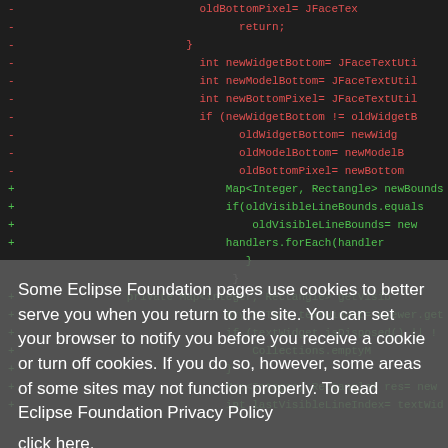[Figure (screenshot): Code diff view with red (removed) and green (added) lines on dark background. Removed lines show code with oldBottomPixel, return, newWidgetBottom, newModelBottom, newBottomPixel, if/else blocks, oldWidgetBottom, oldModelBottom, oldBottomPixel assignments. Added lines show Map<Integer, Rectangle> newBounds, if oldVisibleLineBounds.equals, oldVisibleLineBounds= new, handlers.forEach(handler), private Map<Integer, Rectangle> getVisib, StyledText textWidget= viewer.get, if (textWidget.isDisposed() || !, Collections.emptyM, Map<Integer, Rectangle> res= new, int lastVisibleLineIndex= textWid]
Some Eclipse Foundation pages use cookies to better serve you when you return to the site. You can set your browser to notify you before you receive a cookie or turn off cookies. If you do so, however, some areas of some sites may not function properly. To read Eclipse Foundation Privacy Policy click here.